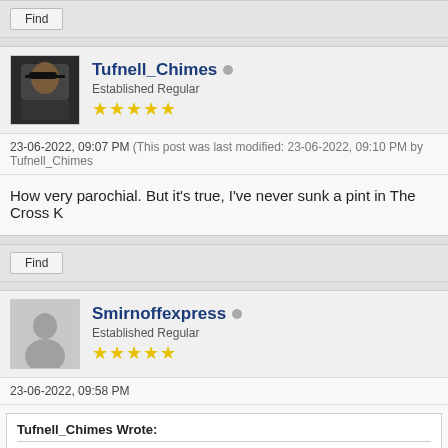Find
Tufnell_Chimes
Established Regular
★★★★★
23-06-2022, 09:07 PM (This post was last modified: 23-06-2022, 09:10 PM by Tufnell_Chimes
How very parochial. But it's true, I've never sunk a pint in The Cross K
Find
Smirnoffexpress
Established Regular
★★★★★
23-06-2022, 09:58 PM
Tufnell_Chimes Wrote:
Its not splitting hairs Smirns, its the law - it can't just be applied and deportation?